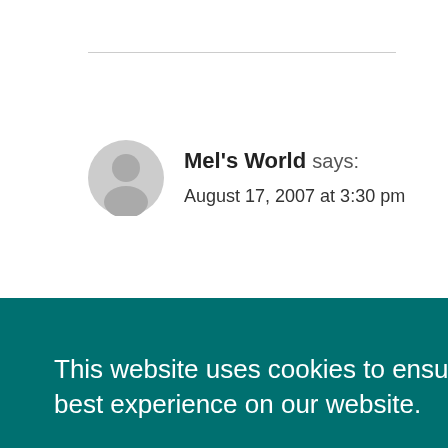Mel's World says:
August 17, 2007 at 3:30 pm
UD
This website uses cookies to ensure you get the best experience on our website.
Learn more
Decline
Accept